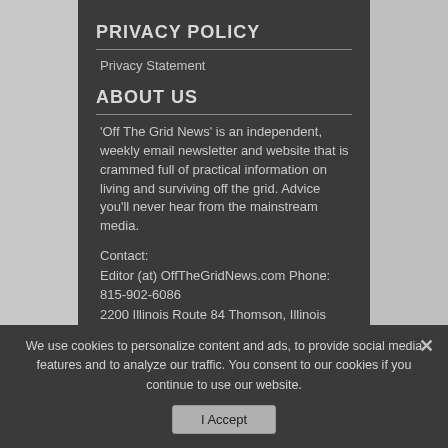PRIVACY POLICY
Privacy Statement
ABOUT US
'Off The Grid News' is an independent, weekly email newsletter and website that is crammed full of practical information on living and surviving off the grid. Advice you'll never hear from the mainstream media.
Contact:
Editor (at) OffTheGridNews.com Phone: 815-902-6086
2200 Illinois Route 84 Thomson, Illinois
We use cookies to personalize content and ads, to provide social media features and to analyze our traffic. You consent to our cookies if you continue to use our website.